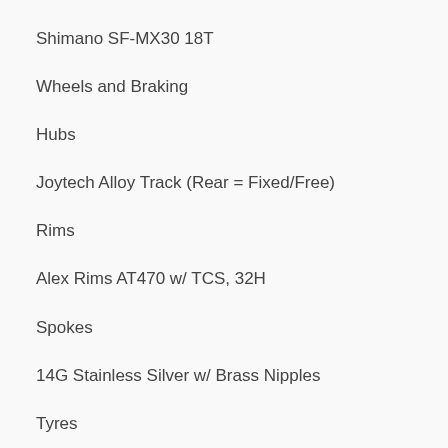Shimano SF-MX30 18T
Wheels and Braking
Hubs
Joytech Alloy Track (Rear = Fixed/Free)
Rims
Alex Rims AT470 w/ TCS, 32H
Spokes
14G Stainless Silver w/ Brass Nipples
Tyres